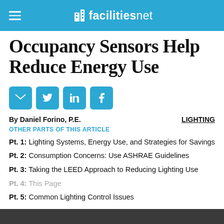facilitiesnet
Occupancy Sensors Help Reduce Energy Use
By Daniel Forino, P.E.
LIGHTING
OTHER PARTS OF THIS ARTICLE
Pt. 1: Lighting Systems, Energy Use, and Strategies for Savings
Pt. 2: Consumption Concerns: Use ASHRAE Guidelines
Pt. 3: Taking the LEED Approach to Reducing Lighting Use
Pt. 4: This Page
Pt. 5: Common Lighting Control Issues